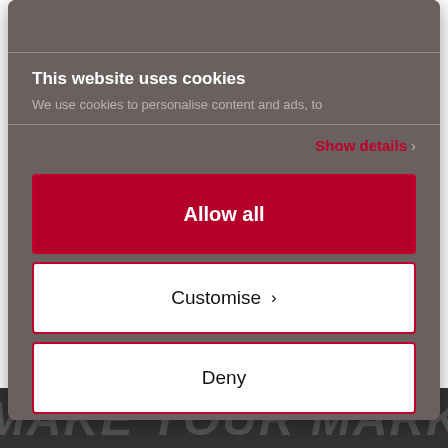This website uses cookies
We use cookies to personalise content and ads, to
Show details ›
Allow all
Customise ›
Deny
Powered by Cookiebot by Usercentrics
MAKE YOUR MARK